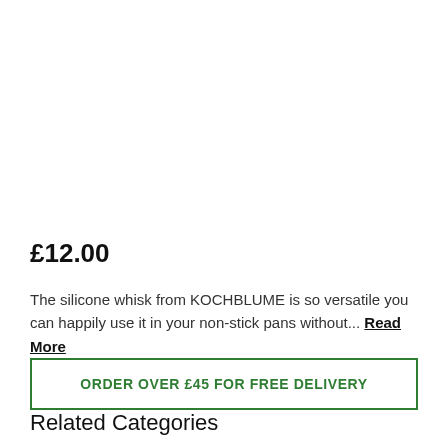£12.00
The silicone whisk from KOCHBLUME is so versatile you can happily use it in your non-stick pans without... Read More
ORDER OVER £45 FOR FREE DELIVERY
Related Categories